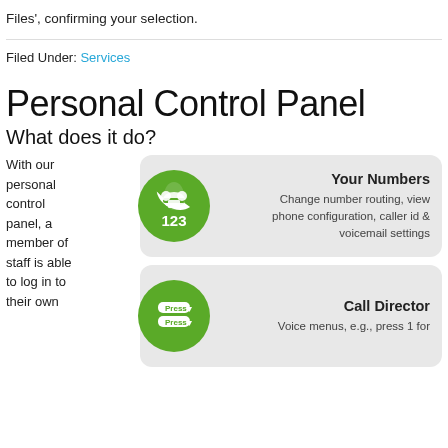Files', confirming your selection.
Filed Under: Services
Personal Control Panel
What does it do?
With our personal control panel, a member of staff is able to log in to their own
[Figure (infographic): Green circle icon with a telephone handset and '123' number, representing 'Your Numbers' feature. Card shows: 'Your Numbers' title and description 'Change number routing, view phone configuration, caller id & voicemail settings']
[Figure (infographic): Green circle icon with 'Press 1' and 'Press 2' buttons, representing 'Call Director' feature. Card shows: 'Call Director' title and description 'Voice menus, e.g., press 1 for']